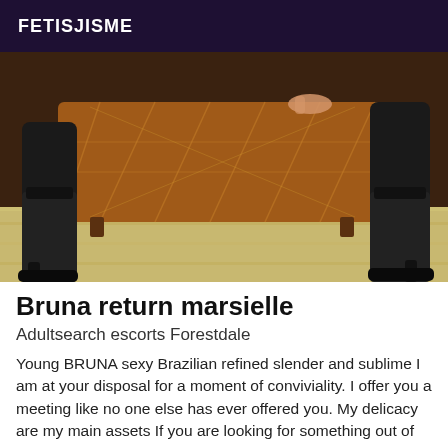FETISJISME
[Figure (photo): Photo showing a person's legs wearing black high-heeled platform boots, standing on a light wood floor next to a brown tufted ottoman/sofa. Only the boots and lower legs are visible.]
Bruna return marsielle
Adultsearch escorts Forestdale
Young BRUNA sexy Brazilian refined slender and sublime I am at your disposal for a moment of conviviality. I offer you a meeting like no one else has ever offered you. My delicacy are my main assets If you are looking for something out of the ordinary then call me. I love encounters based on mutual respect I love to